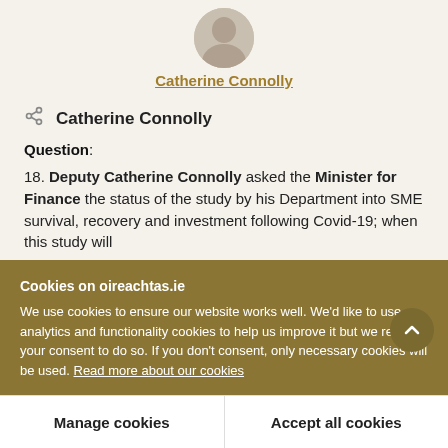[Figure (photo): Circular portrait photo of Catherine Connolly at top of page]
Catherine Connolly
Catherine Connolly
Question:
18. Deputy Catherine Connolly asked the Minister for Finance the status of the study by his Department into SME survival, recovery and investment following Covid-19; when this study will
Cookies on oireachtas.ie
We use cookies to ensure our website works well. We'd like to use analytics and functionality cookies to help us improve it but we require your consent to do so. If you don't consent, only necessary cookies will be used. Read more about our cookies
Manage cookies
Accept all cookies